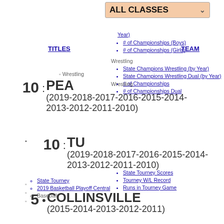ALL CLASSES
# of Championships (Boys)
# of Championships (Girls)
Wrestling
State Champions Wrestling (by Year)
State Champions Wrestling Dual (by Year)
# of Championships
# of Championships Dual
State Tourney
2019 Basketball Playoff Central
Baseball
State Tourney Scores
Tourney W/L Record
Runs in Tourney Game
Baseball (Fall)
State Tourney Scores
Tourney W/L Record
Runs in Tourney Game
Basketball
Basketball Boys
State Tourney Scores
State Tourney All-Time Wins
Team Points in Game
3-Peats
Basketball Girls
State Tourney
TITLES
TEAM
10 · PEA (2019-2018-2017-2016-2015-2014-2013-2012-2011-2010)
10 · TU (2019-2018-2017-2016-2015-2014-2013-2012-2011-2010)
5 · COLLINSVILLE (2015-2014-2013-2012-2011)
3 · BROKEN ARROW (2019-2010-2011)
2 · CHOCTAW (2018-2016)
2 · MACARTHUR (2018-2017)
1 · CLAREMORE (2010)
1 · COWETA (2016)